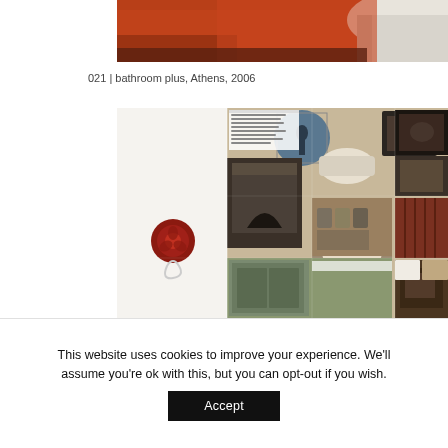[Figure (photo): Top portion of a bathroom interior photo showing an orange-red wall and a white bathtub or sink, partially cropped at the top of the page.]
021 | bathroom plus, Athens, 2006
[Figure (photo): A collage/mood board image showing various antique and vintage interior items including fireplaces, artwork, furniture, a wax seal stamp, tins, and decorative objects arranged in a grid-like pattern. The left side of the image has a white area with a red wax seal.]
This website uses cookies to improve your experience. We'll assume you're ok with this, but you can opt-out if you wish.
Accept